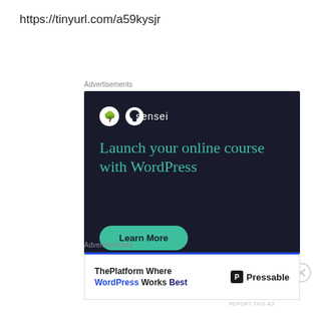https://tinyurl.com/a59kysjr
Advertisements
[Figure (illustration): Sensei advertisement: dark navy background with Sensei logo (tree icon in white circle), headline 'Launch your online course with WordPress' in teal/green color, a teal rounded 'Learn More' button, and 'Powered by WordPress.com' footer text with WordPress logo.]
REPORT THIS AD
Advertisements
[Figure (illustration): Pressable advertisement: white background with blue top border, left side shows bold text 'ThePlatform Where WordPress Works Best' with WordPress in blue, right side shows Pressable logo with P icon.]
REPORT THIS AD